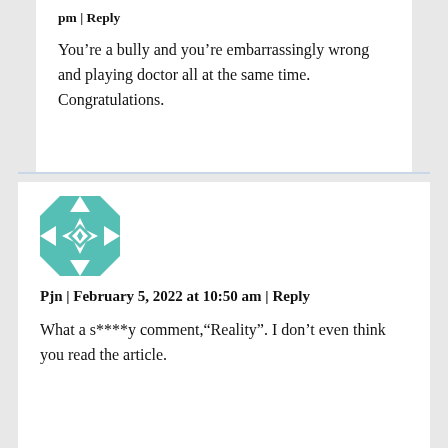pm | Reply
You’re a bully and you’re embarrassingly wrong and playing doctor all at the same time. Congratulations.
[Figure (illustration): Teal and white geometric quilt pattern avatar icon]
Pjn | February 5, 2022 at 10:50 am | Reply
What a s****y comment,“Reality”. I don’t even think you read the article.
[Figure (illustration): Red and orange geometric quilt pattern avatar icon (partially visible)]